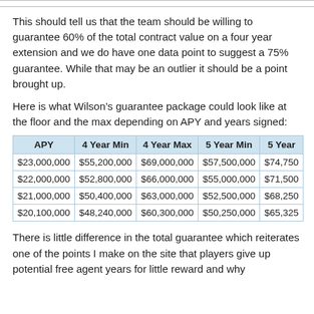This should tell us that the team should be willing to guarantee 60% of the total contract value on a four year extension and we do have one data point to suggest a 75% guarantee. While that may be an outlier it should be a point brought up.
Here is what Wilson’s guarantee package could look like at the floor and the max depending on APY and years signed:
| APY | 4 Year Min | 4 Year Max | 5 Year Min | 5 Year... |
| --- | --- | --- | --- | --- |
| $23,000,000 | $55,200,000 | $69,000,000 | $57,500,000 | $74,750... |
| $22,000,000 | $52,800,000 | $66,000,000 | $55,000,000 | $71,500... |
| $21,000,000 | $50,400,000 | $63,000,000 | $52,500,000 | $68,250... |
| $20,100,000 | $48,240,000 | $60,300,000 | $50,250,000 | $65,325... |
There is little difference in the total guarantee which reiterates one of the points I make on the site that players give up potential free agent years for little reward and why